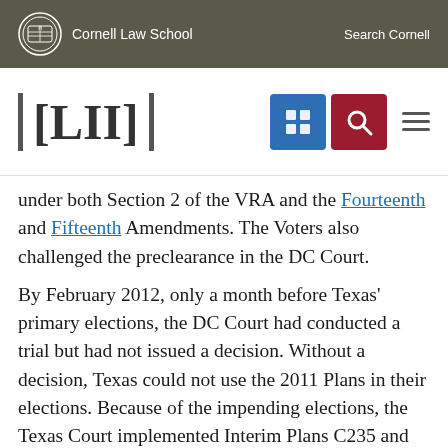Cornell Law School    Search Cornell
[Figure (logo): LII Legal Information Institute logo with navigation icons (grid icon in blue, search icon in red, hamburger menu)]
under both Section 2 of the VRA and the Fourteenth and Fifteenth Amendments. The Voters also challenged the preclearance in the DC Court.
By February 2012, only a month before Texas' primary elections, the DC Court had conducted a trial but had not issued a decision. Without a decision, Texas could not use the 2011 Plans in their elections. Because of the impending elections, the Texas Court implemented Interim Plans C235 and H309 (“Interim Plans”) so the primary elections could proceed. In formulating the Interim Plans, the Texas Court attempted to discern which portions of the 2011 Plans the DC Court would find substantially problematic, and thus needed to be altered. The parts of the 2011 Plans that the Texas